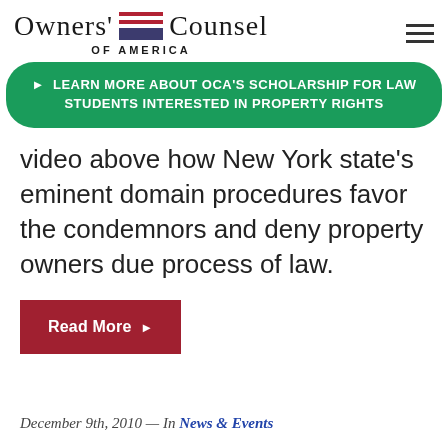Owners' Counsel of America
▶ LEARN MORE ABOUT OCA'S SCHOLARSHIP FOR LAW STUDENTS INTERESTED IN PROPERTY RIGHTS
video above how New York state's eminent domain procedures favor the condemnors and deny property owners due process of law.
Read More ▶
December 9th, 2010 — In News & Events